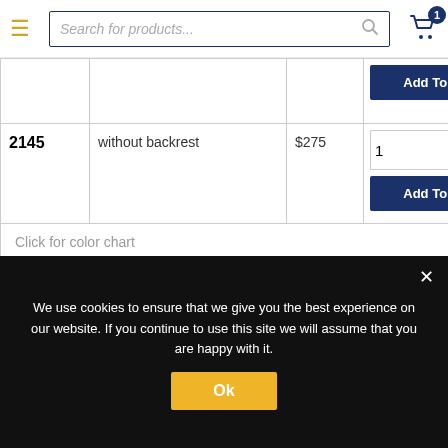Search for products...
| ID | Description | Price | Action |
| --- | --- | --- | --- |
|  |  |  | Add To Cart |
| 2145 | without backrest | $275 | 1 | Add To Cart |
Click for color chart
We use cookies to ensure that we give you the best experience on our website. If you continue to use this site we will assume that you are happy with it.